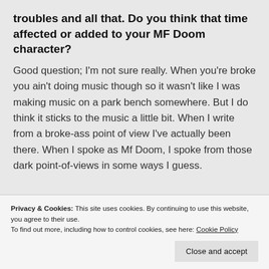troubles and all that. Do you think that time affected or added to your MF Doom character?
Good question; I'm not sure really. When you're broke you ain't doing music though so it wasn't like I was making music on a park bench somewhere. But I do think it sticks to the music a little bit. When I write from a broke-ass point of view I've actually been there. When I spoke as Mf Doom, I spoke from those dark point-of-views in some ways I guess.
Privacy & Cookies: This site uses cookies. By continuing to use this website, you agree to their use. To find out more, including how to control cookies, see here: Cookie Policy
officially done anything to the Mf. I was on